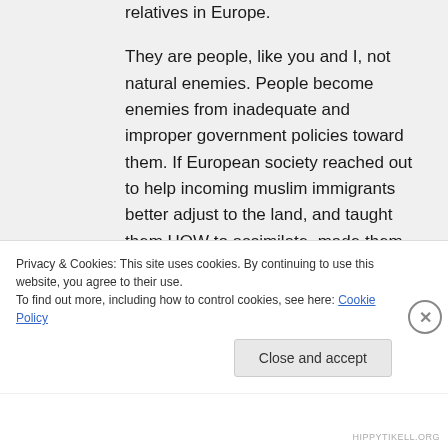relatives in Europe.

They are people, like you and I, not natural enemies. People become enemies from inadequate and improper government policies toward them. If European society reached out to help incoming muslim immigrants better adjust to the land, and taught them HOW to assimilate, made them feel
Privacy & Cookies: This site uses cookies. By continuing to use this website, you agree to their use.
To find out more, including how to control cookies, see here: Cookie Policy
Close and accept